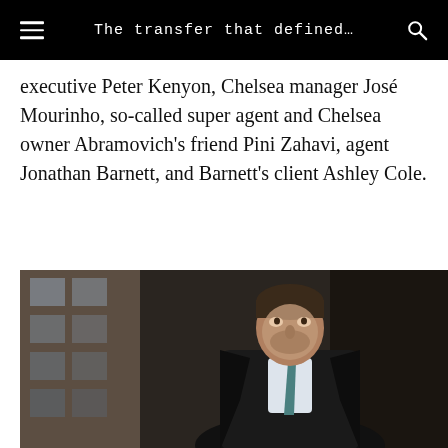The transfer that defined…
executive Peter Kenyon, Chelsea manager José Mourinho, so-called super agent and Chelsea owner Abramovich's friend Pini Zahavi, agent Jonathan Barnett, and Barnett's client Ashley Cole.
[Figure (photo): A man in a dark coat and teal tie, looking upward, standing in front of a building with windows — Roman Abramovich.]